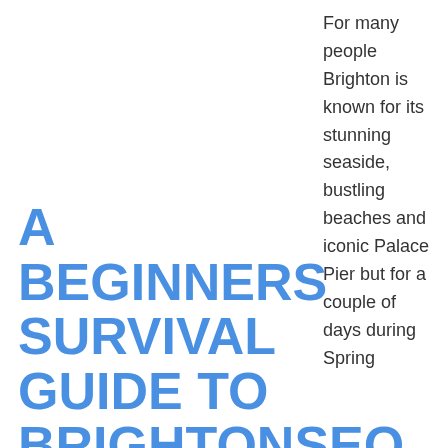A BEGINNERS SURVIVAL GUIDE TO BRIGHTONSEO & OUR TOP 3 TAKEAWAYS
For many people Brighton is known for its stunning seaside, bustling beaches and iconic Palace Pier but for a couple of days during Spring